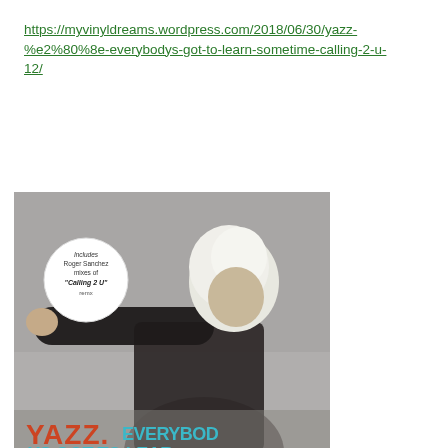https://myvinyldreams.wordpress.com/2018/06/30/yazz-%e2%80%8e-everybodys-got-to-learn-sometime-calling-2-u-12/
[Figure (photo): Album cover of Yazz 'Everybody's Got To Learn Sometime' 12-inch vinyl. Black and white photo of a blonde-haired person with arm outstretched wearing dark clothing. Text on cover reads 'YAZZ. EVERYBODYS GOT TO LEARN SOMETIME' in teal/cyan letters. Small circular sticker reads 'Includes Roger Sanchez mixes of Calling 2 U'. YAZZ. in orange/red.]